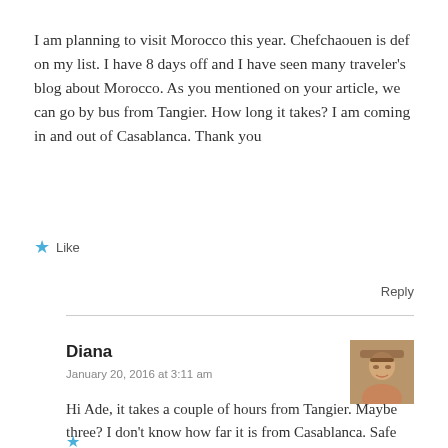I am planning to visit Morocco this year. Chefchaouen is def on my list. I have 8 days off and I have seen many traveler's blog about Morocco. As you mentioned on your article, we can go by bus from Tangier. How long it takes? I am coming in and out of Casablanca. Thank you
★ Like
Reply
Diana
January 20, 2016 at 3:11 am
Hi Ade, it takes a couple of hours from Tangier. Maybe three? I don't know how far it is from Casablanca. Safe travels and enjoy!!